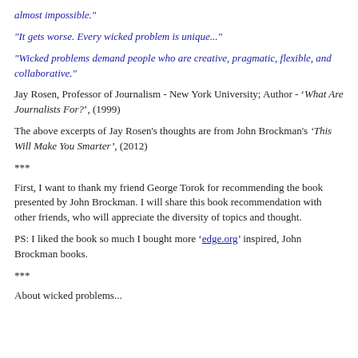almost impossible."
"It gets worse. Every wicked problem is unique..."
"Wicked problems demand people who are creative, pragmatic, flexible, and collaborative."
Jay Rosen, Professor of Journalism - New York University; Author - 'What Are Journalists For?', (1999)
The above excerpts of Jay Rosen's thoughts are from John Brockman's ‘This Will Make You Smarter’, (2012)
***
First, I want to thank my friend George Torok for recommending the book presented by John Brockman. I will share this book recommendation with other friends, who will appreciate the diversity of topics and thought.
PS: I liked the book so much I bought more 'edge.org' inspired, John Brockman books.
***
About wicked problems...